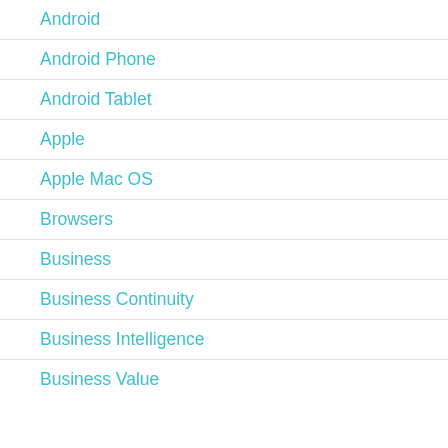Android
Android Phone
Android Tablet
Apple
Apple Mac OS
Browsers
Business
Business Continuity
Business Intelligence
Business Value